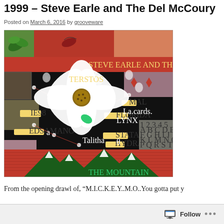1999 – Steve Earle and The Del McCoury
Posted on March 6, 2016 by grooveware
[Figure (illustration): Album cover for 'The Mountain' by Steve Earle and the Del McCoury Band. A colorful collage-style artwork featuring a large white flower in the center against a dark background covered with various symbols, labels, and patterns. A red banner at the top reads 'STEVE EARLE AND THE DEL MCCOURY BAND'. At the bottom, snow-capped mountains and red striped patterns appear with the text 'THE MOUNTAIN' in green lettering.]
From the opening drawl of, “M.I.C.K.E.Y..M.O..You gotta put y